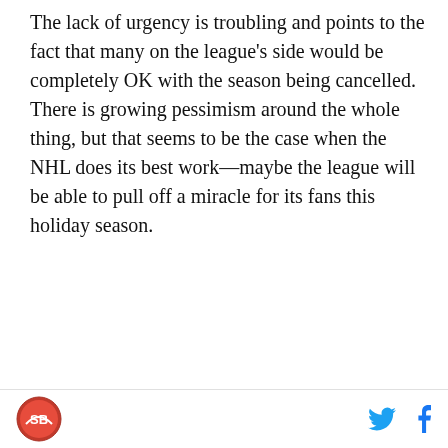The lack of urgency is troubling and points to the fact that many on the league's side would be completely OK with the season being cancelled. There is growing pessimism around the whole thing, but that seems to be the case when the NHL does its best work—maybe the league will be able to pull off a miracle for its fans this holiday season.
Poll
Do you think we will get a 2021 NHL season?
This poll is closed